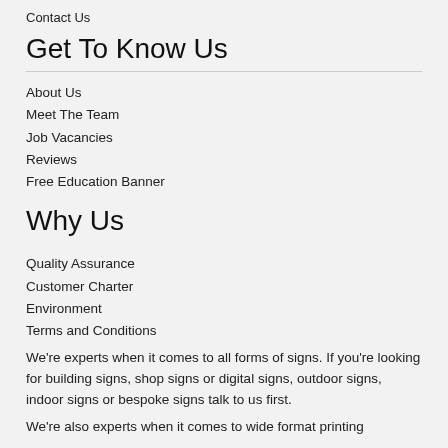Contact Us
Get To Know Us
About Us
Meet The Team
Job Vacancies
Reviews
Free Education Banner
Why Us
Quality Assurance
Customer Charter
Environment
Terms and Conditions
We're experts when it comes to all forms of signs. If you're looking for building signs, shop signs or digital signs, outdoor signs, indoor signs or bespoke signs talk to us first.
We're also experts when it comes to wide format printing